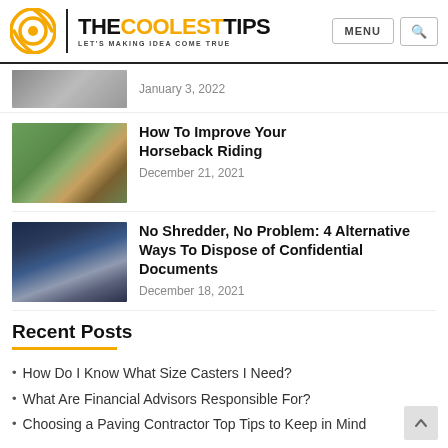THE COOLEST TIPS | LET'S MAKING IDEA COME TRUE — MENU [search]
January 3, 2022
How To Improve Your Horseback Riding
December 21, 2021
No Shredder, No Problem: 4 Alternative Ways To Dispose of Confidential Documents
December 18, 2021
Recent Posts
How Do I Know What Size Casters I Need?
What Are Financial Advisors Responsible For?
Choosing a Paving Contractor Top Tips to Keep in Mind